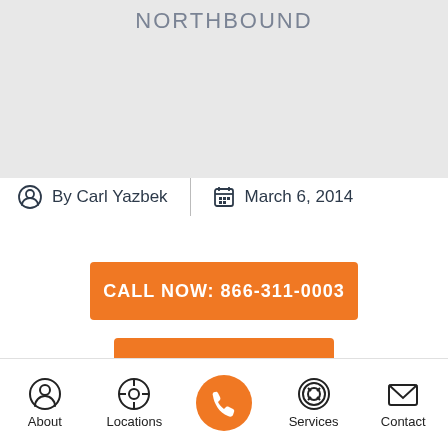[Figure (other): Map area showing gray background with text NORTHBOUND]
By Carl Yazbek   March 6, 2014
CALL NOW: 866-311-0003
VERIFY BENEFITS NOW
About  Locations  [call button]  Services  Contact